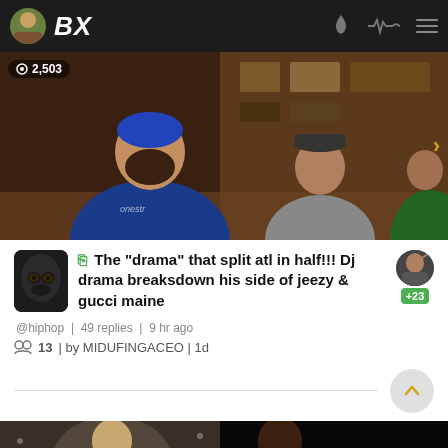BX | 2,503
[Figure (photo): Photo of men sitting at a table in an indoor setting. Man with blue hair and blue shirt on left, others in background.]
📺 The "drama" that split atl in half!!! Dj drama breaksdown his side of jeezy & gucci maine
@hiphop | 49 replies | 9 hr ago
13 | by MIDUFINGACEO | 1d
[Figure (photo): Bottom strip showing two boxing-related photos side by side. Left shows a light-skinned fighter, right shows a dark-skinned fighter against black background with refresh and back icons.]